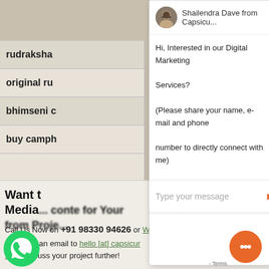[Figure (screenshot): Screenshot of a website with a chat popup overlay from Shailendra Dave from Capsicu... The popup shows a chat message and an input field. The background shows a table with search terms and a contact section at the bottom.]
Shailendra Dave from Capsicu...
Hi, Interested in our Digital Marketing Services? (Please share your name, e-mail and phone number to directly connect with me)
Type your message
rudraksha
original ru
bhimseni c
buy camph
Want t Media...
... conte for Your from Proje...
Call Us Now on +91 98330 94626 or WhatsApp
r send us an email to hello [at] capsicum .in to discuss your project further!
Terms